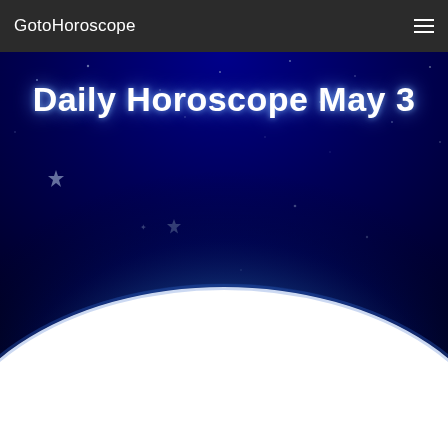GotoHoroscope
[Figure (illustration): Night sky banner image with dark blue starfield background, stars scattered across the upper portion, and a bright white glowing horizon at the bottom suggesting a planet or Earth from space. The upper area is deep navy/dark blue fading to black, with a luminous white-blue glow along the curved horizon.]
Daily Horoscope May 3